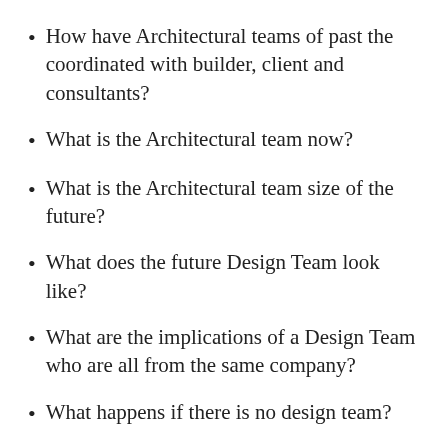How have Architectural teams of past the coordinated with builder, client and consultants?
What is the Architectural team now?
What is the Architectural team size of the future?
What does the future Design Team look like?
What are the implications of a Design Team who are all from the same company?
What happens if there is no design team?